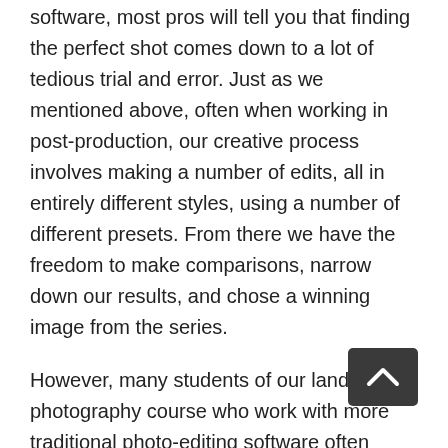software, most pros will tell you that finding the perfect shot comes down to a lot of tedious trial and error. Just as we mentioned above, often when working in post-production, our creative process involves making a number of edits, all in entirely different styles, using a number of different presets. From there we have the freedom to make comparisons, narrow down our results, and chose a winning image from the series.
However, many students of our landscape photography course who work with more traditional photo-editing software often complain about issues of eating up storage on their hard drives when trying out and saving a number of different edits to the same original image. Thanks to the virtual copies feature offered by Exposure